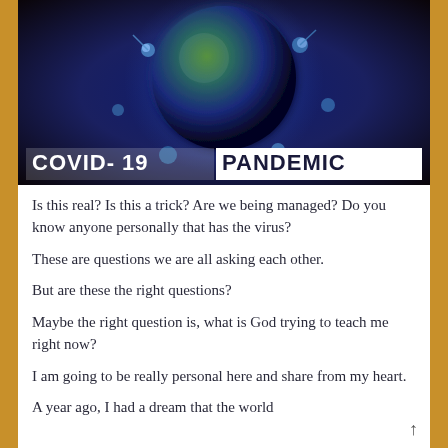[Figure (photo): COVID-19 Pandemic banner image showing a 3D globe surrounded by virus particles on a dark blue/purple background, with bold text 'COVID-19 PANDEMIC' overlaid at the bottom. MGN watermark in bottom right.]
Is this real?  Is this a trick?  Are we being managed? Do you know anyone personally that has the virus?
These are questions we are all asking each other.
But are these the right questions?
Maybe the right question is, what is God trying to teach me right now?
I am going to be really personal here and share from my heart.
A year ago, I had a dream that the world